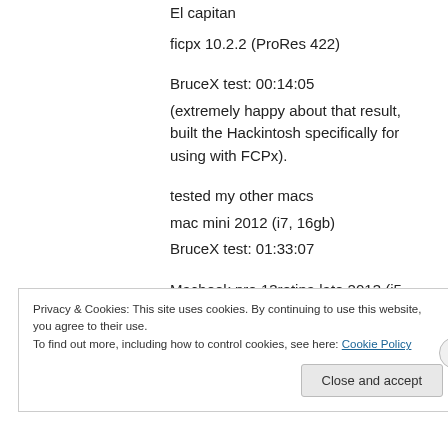El capitan
ficpx 10.2.2 (ProRes 422)
BruceX test: 00:14:05
(extremely happy about that result, built the Hackintosh specifically for using with FCPx).
tested my other macs
mac mini 2012 (i7, 16gb)
BruceX test: 01:33:07
Macbook pro 13retina late 2013 (i5, 8gb)
BruceX test: 01:52:21
Privacy & Cookies: This site uses cookies. By continuing to use this website, you agree to their use.
To find out more, including how to control cookies, see here: Cookie Policy